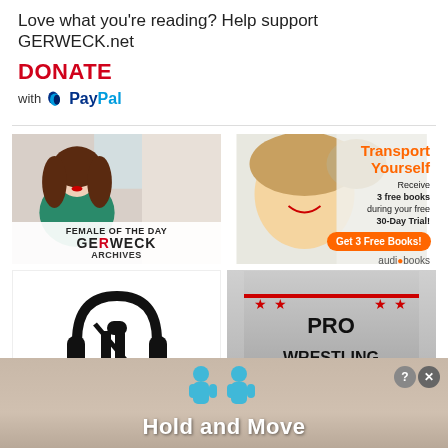Love what you're reading? Help support GERWECK.net
DONATE
with PayPal
[Figure (photo): Female of the Day - GERWECK ARCHIVES - woman with curly brown hair in green top holding sign]
[Figure (advertisement): Audiobooks.com ad - Transport Yourself - Receive 3 free books during your free 30-Day Trial! Get 3 Free Books! - woman smiling]
[Figure (logo): Headphones and microphone logo in black and white]
[Figure (logo): Pro Wrestling logo on grey background with red ring ropes and stars]
[Figure (advertisement): Hold and Move app banner advertisement with teal person figures]